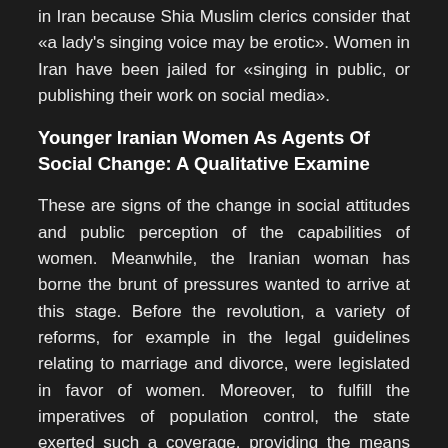in Iran because Shia Muslim clerics consider that «a lady's singing voice may be erotic». Women in Iran have been jailed for «singing in public, or publishing their work on social media».
Younger Iranian Women As Agents Of Social Change: A Qualitative Examine
These are signs of the change in social attitudes and public perception of the capabilities of women. Meanwhile, the Iranian woman has borne the brunt of pressures wanted to arrive at this stage. Before the revolution, a variety of reforms, for example in the legal guidelines relating to marriage and divorce, were legislated in favor of women. Moreover, to fulfill the imperatives of population control, the state exerted such a coverage, providing the means for family planning that, in turn, enabled women to turn into socially extra energetic.